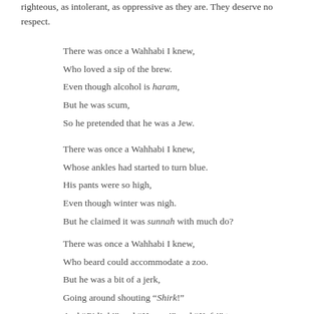righteous, as intolerant, as oppressive as they are. They deserve no respect.
There was once a Wahhabi I knew,
Who loved a sip of the brew.
Even though alcohol is haram,
But he was scum,
So he pretended that he was a Jew.
There was once a Wahhabi I knew,
Whose ankles had started to turn blue.
His pants were so high,
Even though winter was nigh.
But he claimed it was sunnah with much do?
There was once a Wahhabi I knew,
Who beard could accommodate a zoo.
But he was a bit of a jerk,
Going around shouting “Shirk!”
And “Bid’ah!” and “Haram!” and “Kufr!” too.